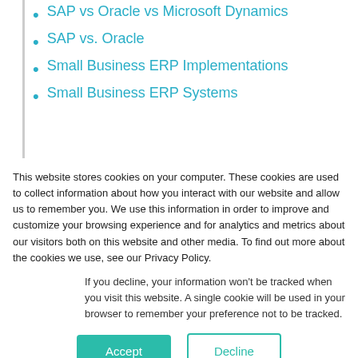SAP vs Oracle vs Microsoft Dynamics
SAP vs. Oracle
Small Business ERP Implementations
Small Business ERP Systems
This website stores cookies on your computer. These cookies are used to collect information about how you interact with our website and allow us to remember you. We use this information in order to improve and customize your browsing experience and for analytics and metrics about our visitors both on this website and other media. To find out more about the cookies we use, see our Privacy Policy.
If you decline, your information won't be tracked when you visit this website. A single cookie will be used in your browser to remember your preference not to be tracked.
Accept
Decline